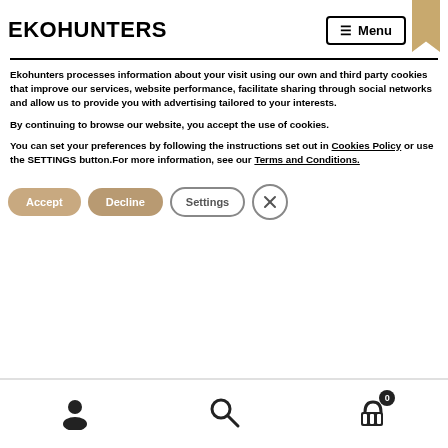EKOHUNTERS
Ekohunters processes information about your visit using our own and third party cookies that improve our services, website performance, facilitate sharing through social networks and allow us to provide you with advertising tailored to your interests.

By continuing to browse our website, you accept the use of cookies.

You can set your preferences by following the instructions set out in Cookies Policy or use the SETTINGS button.For more information, see our Terms and Conditions.
[Figure (other): Cookie consent buttons: Accept (tan rounded), Decline (tan rounded), Settings (outlined rounded), Close X (circle)]
User icon | Search icon | Cart icon with badge 0